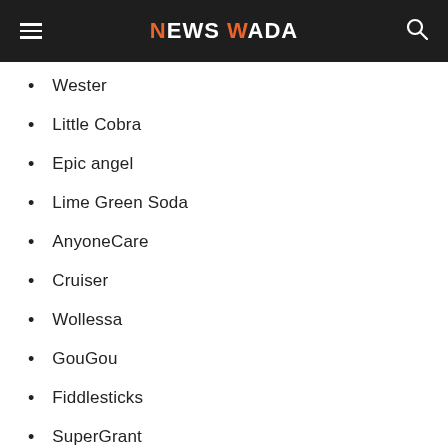NEWS WADA
Wester
Little Cobra
Epic angel
Lime Green Soda
AnyoneCare
Cruiser
Wollessa
GouGou
Fiddlesticks
SuperGrant
TECH Fat
Mood Rock